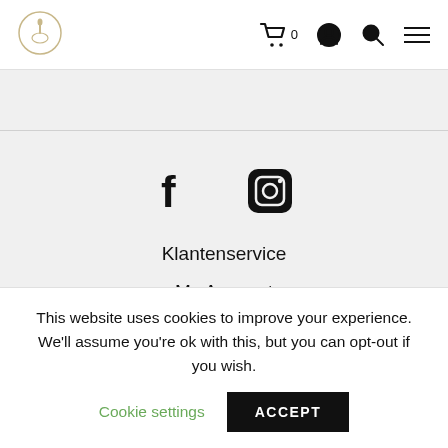Logo | Cart 0 | Account | Search | Menu
[Figure (logo): Website logo — small circular icon with a leaf/candle motif in gold on white]
[Figure (infographic): Facebook icon (f) and Instagram icon (rounded square with camera) as social media links]
Klantenservice
My Account
Winkelwagen
Wishlist
Retourformulier
This website uses cookies to improve your experience. We'll assume you're ok with this, but you can opt-out if you wish.
Cookie settings
ACCEPT